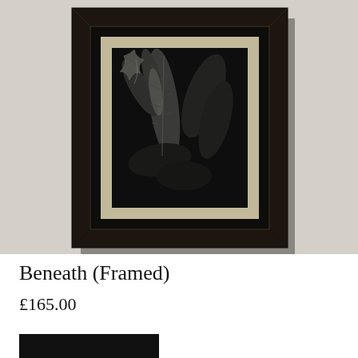[Figure (photo): A framed black-and-white photograph of fern/leaf botanical subject, mounted in a dark wood frame with cream mat, displayed on a light grey wall]
Beneath (Framed)
£165.00